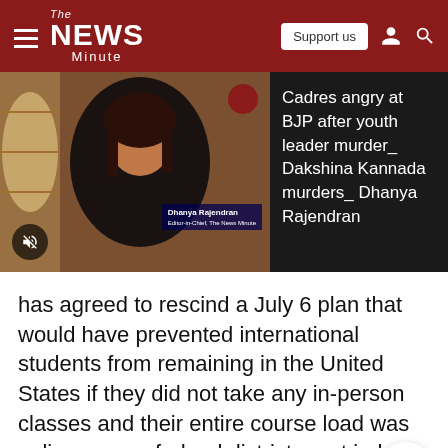The News Minute — Support us
[Figure (screenshot): Video thumbnail showing a woman (Dhanya Rajendran) speaking, with a name tag overlay and a red dot in the corner. Mute button visible at bottom left.]
Cadres angry at BJP after youth leader murder_ Dakshina Kannada murders_ Dhanya Rajendran
has agreed to rescind a July 6 plan that would have prevented international students from remaining in the United States if they did not take any in-person classes and their entire course load was online, a federal district court judge said on Tuesday.